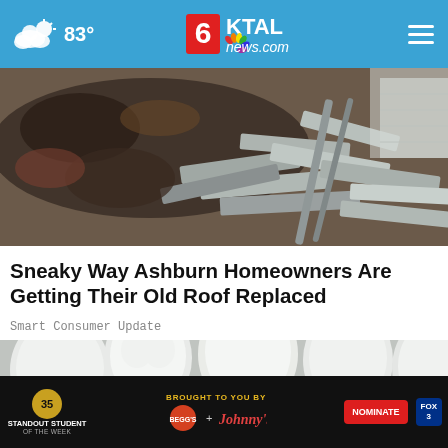83° KTAL news.com
[Figure (photo): Pile of old broken roof shingles and debris, overhead view]
Sneaky Way Ashburn Homeowners Are Getting Their Old Roof Replaced
Smart Consumer Update
[Figure (photo): 3D render of dental implants and crowns — white ceramic teeth with metal implant posts and exposed gum tissue]
[Figure (screenshot): Advertisement banner: Standout Student of the Week — Brought to you by Begg's Hamburgers + Johnny's — Nominate — Fox 3]